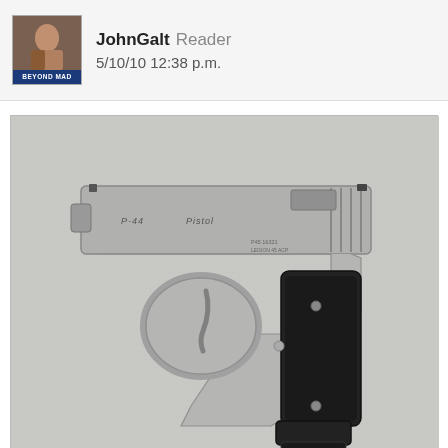JohnGalt  Reader
5/10/10 12:38 p.m.
[Figure (photo): Photo of a silver/stainless semi-automatic handgun with black grips and extended magazine, placed on a gray cloth surface]